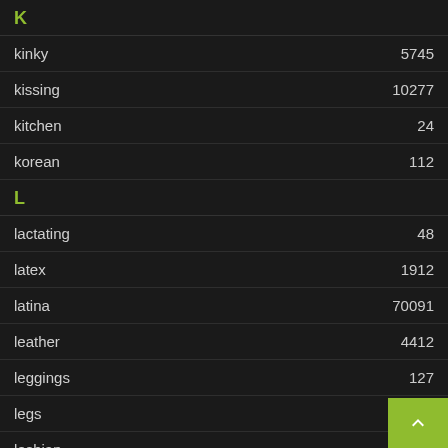K
kinky  5745
kissing  10277
kitchen  24
korean  112
L
lactating  48
latex  1912
latina  70091
leather  4412
leggings  127
legs  2137
lesbian  3860
lingerie  2686
lips
lits